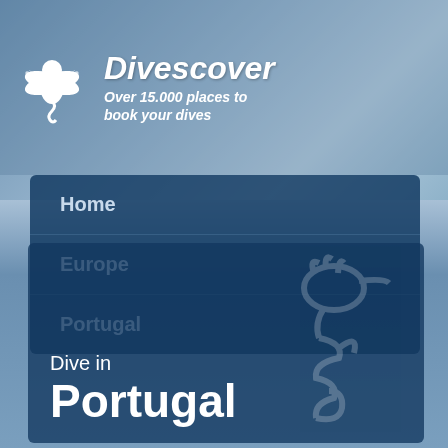[Figure (logo): Divescover logo with stylized white sea creature icon on the left and italic bold text 'Divescover' with subtitle 'Over 15.000 places to book your dives' on the right, on a blue sky/water background]
Home
Europe
Portugal
[Figure (illustration): Dark blue banner with a faint seahorse silhouette illustration in the background. Text reads 'Dive in' above large bold 'Portugal']
Dive in
Portugal